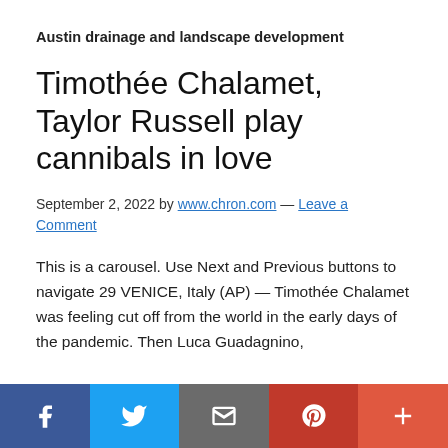Austin drainage and landscape development
Timothée Chalamet, Taylor Russell play cannibals in love
September 2, 2022 by www.chron.com — Leave a Comment
This is a carousel. Use Next and Previous buttons to navigate 29 VENICE, Italy (AP) — Timothée Chalamet was feeling cut off from the world in the early days of the pandemic. Then Luca Guadagnino,
[Figure (infographic): Social sharing bar with 5 buttons: Facebook (dark blue), Twitter (light blue), Email/envelope (gray), Pinterest (red), Plus/more (orange-red)]